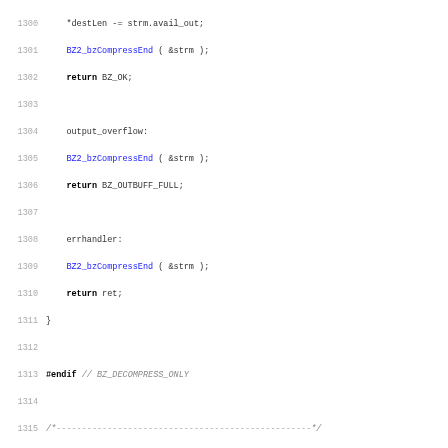Source code listing lines 1300-1331, C code for bzip2 BZ2_bzBuffToBuffDecompress function